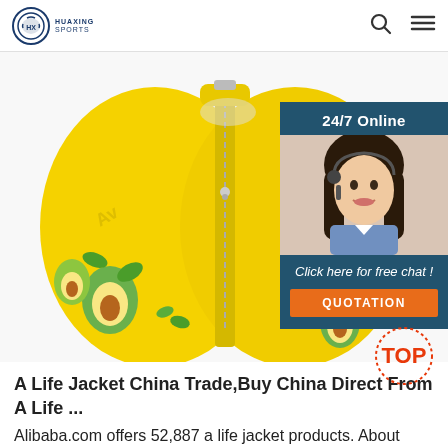HUAXING SPORTS
[Figure (photo): Yellow children's life jacket with avocado fruit print design, shown flat/open, with zipper. Overlaid with a customer service chat widget showing '24/7 Online', a female agent with headset, 'Click here for free chat!' text, and an orange QUOTATION button.]
A Life Jacket China Trade,Buy China Direct From A Life ...
Alibaba.com offers 52,887 a life jacket products. About 21% of these are life vest, 1% are other water safety products, and 1% are swimwear & beachwear. A wide variety of a life jacket options